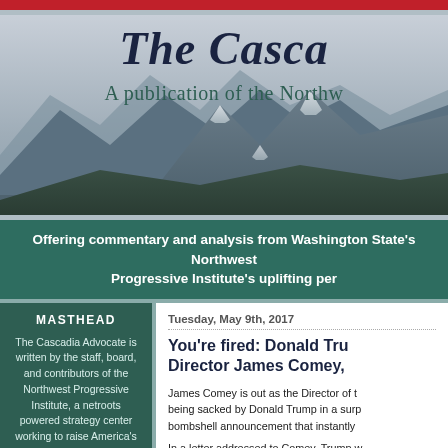The Cascadia Advocate
A publication of the Northwest Progressive Institute
Offering commentary and analysis from Washington State's Northwest Progressive Institute's uplifting perspective
MASTHEAD
The Cascadia Advocate is written by the staff, board, and contributors of the Northwest Progressive Institute, a netroots powered strategy center working to raise America's quality of life through insightful research and imaginative advocacy.
Tuesday, May 9th, 2017
You're fired: Donald Trump sacks FBI Director James Comey,
James Comey is out as the Director of the FBI, being sacked by Donald Trump in a surprising bombshell announcement that instantly
In a letter addressed to Comey, Trump w